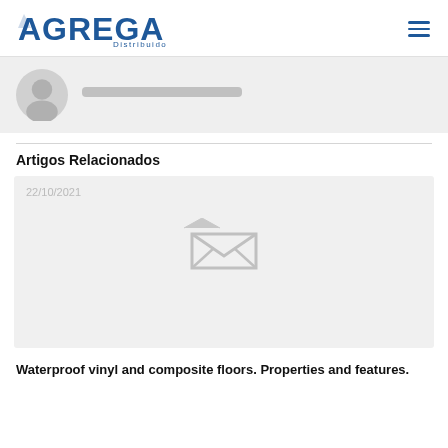AGREGAR Distribuidora
[Figure (photo): Author avatar placeholder with user silhouette icon in gray circle]
Artigos Relacionados
[Figure (photo): Related article card with date 22/10/2021 and broken image placeholder icon]
Waterproof vinyl and composite floors. Properties and features.